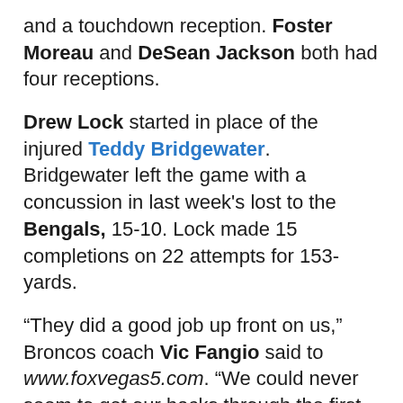and a touchdown reception. Foster Moreau and DeSean Jackson both had four receptions.
Drew Lock started in place of the injured Teddy Bridgewater. Bridgewater left the game with a concussion in last week's lost to the Bengals, 15-10. Lock made 15 completions on 22 attempts for 153-yards.
“They did a good job up front on us,” Broncos coach Vic Fangio said to www.foxvegas5.com. “We could never seem to get our backs through the first wave of the defensive line and we had a hard time finding any room there. You get 158 yards of offense and eight first downs, it’s hard to say anything good about the offense.”